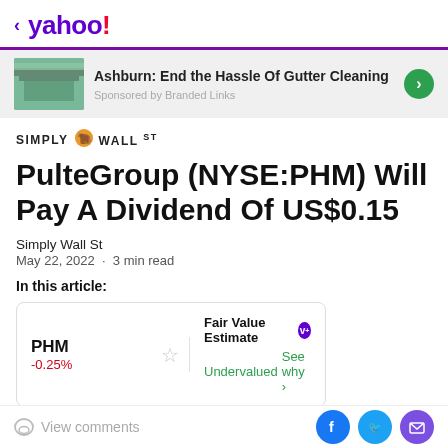< yahoo!
[Figure (infographic): Advertisement banner: Ashburn: End the Hassle Of Gutter Cleaning. Sponsored by Branded Links. Green arrow button on right. Image of gutters on left.]
[Figure (logo): Simply Wall St logo with bull icon]
PulteGroup (NYSE:PHM) Will Pay A Dividend Of US$0.15
Simply Wall St
May 22, 2022 · 3 min read
In this article:
| Ticker | Fair Value Estimate |
| --- | --- |
| PHM
-0.25% | Undervalued See why > |
View comments